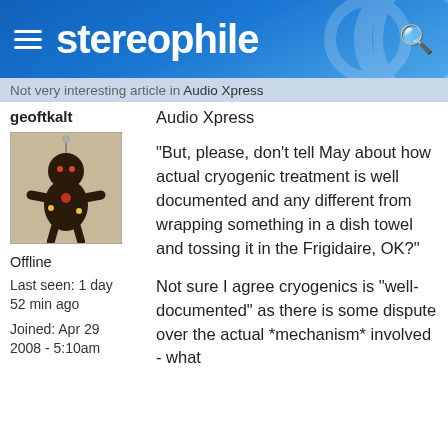stereophile
geoftkalt
[Figure (photo): A voodoo doll figurine made of dark fabric with beads and decorations]
Offline
Last seen: 1 day 52 min ago
Joined: Apr 29 2008 - 5:10am
Not very interesting article in Audio Xpress
"But, please, don't tell May about how actual cryogenic treatment is well documented and any different from wrapping something in a dish towel and tossing it in the Frigidaire, OK?"
Not sure I agree cryogenics is "well-documented" as there is some dispute over the actual *mechanism* involved - what